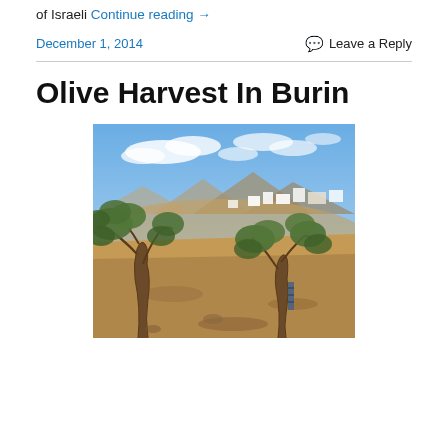of Israeli Continue reading →
December 1, 2014   Leave a Reply
Olive Harvest In Burin
[Figure (photo): Outdoor landscape photo of an olive grove in Burin. Foreground shows olive trees with gnarled trunks on dry rocky hillside terrain. Background shows a village with white buildings on hillside, mountains, and a partly cloudy blue sky.]